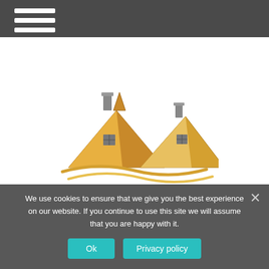Navigation bar with hamburger menu
[Figure (logo): Gold house/roof logo with wavy gold lines below and website name THEHOUSEOFSOLIDGOLD.COM in gold text]
[Figure (other): Orange hamburger menu icon]
Home > Lifehacks >
We use cookies to ensure that we give you the best experience on our website. If you continue to use this site we will assume that you are happy with it.
Ok
Privacy policy